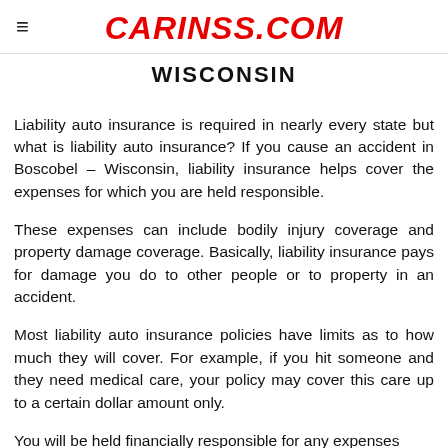CARINSS.COM
Wisconsin
Liability auto insurance is required in nearly every state but what is liability auto insurance? If you cause an accident in Boscobel – Wisconsin, liability insurance helps cover the expenses for which you are held responsible.
These expenses can include bodily injury coverage and property damage coverage. Basically, liability insurance pays for damage you do to other people or to property in an accident.
Most liability auto insurance policies have limits as to how much they will cover. For example, if you hit someone and they need medical care, your policy may cover this care up to a certain dollar amount only.
You will be held financially responsible for any expenses